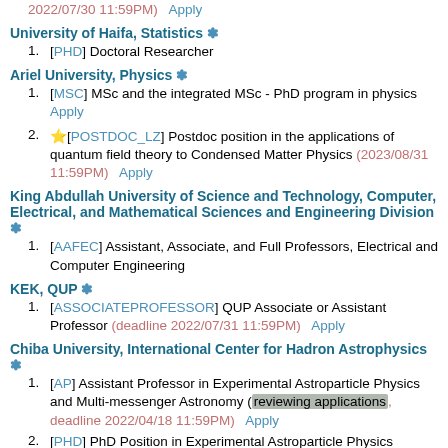2022/07/30 11:59PM)   Apply
University of Haifa, Statistics ❋
[PHD] Doctoral Researcher
Ariel University, Physics ❋
[MSC] MSc and the integrated MSc - PhD program in physics Apply
★[POSTDOC_LZ] Postdoc position in the applications of quantum field theory to Condensed Matter Physics (2023/08/31 11:59PM)   Apply
King Abdullah University of Science and Technology, Computer, Electrical, and Mathematical Sciences and Engineering Division ❋
[AAFEC] Assistant, Associate, and Full Professors, Electrical and Computer Engineering
KEK, QUP ❋
[ASSOCIATEPROFESSOR] QUP Associate or Assistant Professor (deadline 2022/07/31 11:59PM)   Apply
Chiba University, International Center for Hadron Astrophysics ❋
[AP] Assistant Professor in Experimental Astroparticle Physics and Multi-messenger Astronomy (reviewing applications, deadline 2022/04/18 11:59PM)   Apply
[PHD] PhD Position in Experimental Astroparticle Physics